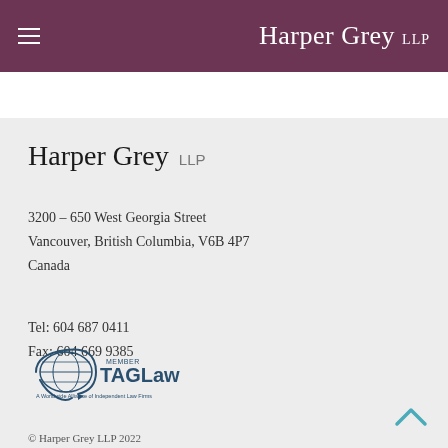Harper Grey LLP
BIOGRAPHY | CREDENTIALS | NEWS + KNOWLEDGE
Harper Grey LLP
3200 – 650 West Georgia Street
Vancouver, British Columbia, V6B 4P7
Canada
Tel: 604 687 0411
Fax: 604 669 9385
[Figure (logo): TAGLaw member logo - A Worldwide Alliance of Independent Law Firms]
© Harper Grey LLP 2022